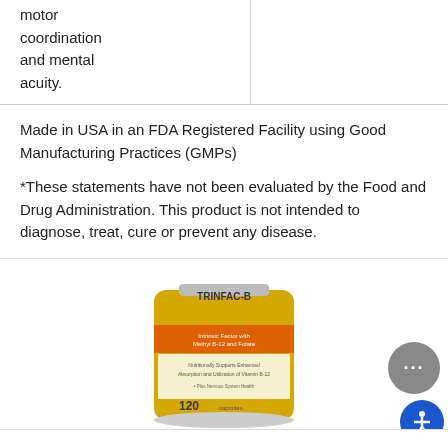motor coordination and mental acuity.
Made in USA in an FDA Registered Facility using Good Manufacturing Practices (GMPs)
*These statements have not been evaluated by the Food and Drug Administration. This product is not intended to diagnose, treat, cure or prevent any disease.
[Figure (photo): Product photo of TRINFAC-B supplement bottle with yellow label, 120 capsules]
TRINFAC-B Intrinsic Factor Vitamin B12 as Methylcobalamin (120 Capsules)
$19.98